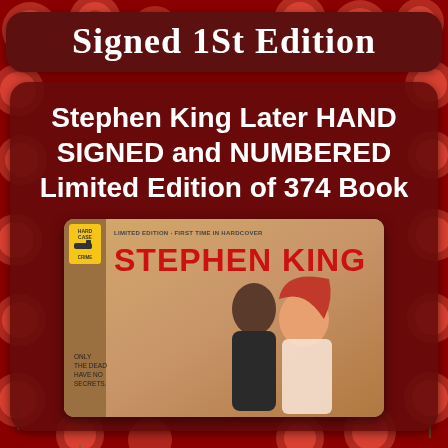Signed 1St Edition
Stephen King Later HAND SIGNED and NUMBERED Limited Edition of 374 Book
[Figure (photo): Book cover of Stephen King 'Later' - Limited Edition First Time in Hardcover, Hard Case Crime imprint, showing two figures (a young man and a red-haired woman) on a golden/tan background with red author name text]